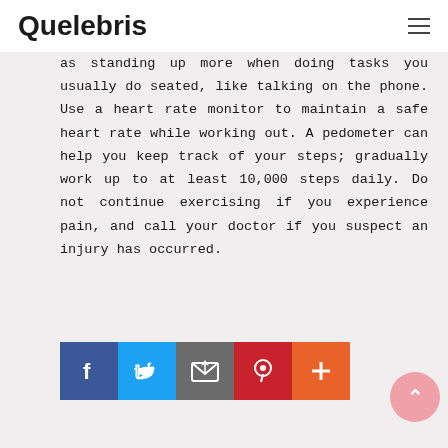Quelebris
as standing up more when doing tasks you usually do seated, like talking on the phone. Use a heart rate monitor to maintain a safe heart rate while working out. A pedometer can help you keep track of your steps; gradually work up to at least 10,000 steps daily. Do not continue exercising if you experience pain, and call your doctor if you suspect an injury has occurred.
[Figure (infographic): Social sharing buttons: Facebook (blue), Twitter (light blue), Email/envelope (gray), Pinterest (red), More/plus (orange)]